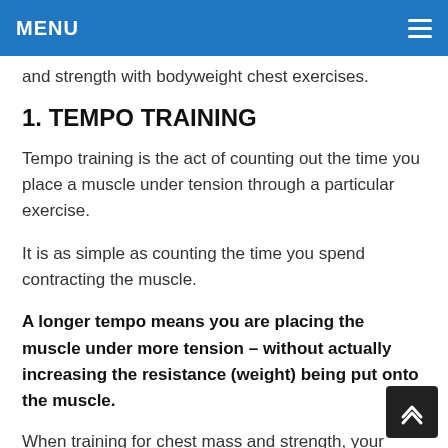MENU
and strength with bodyweight chest exercises.
1. TEMPO TRAINING
Tempo training is the act of counting out the time you place a muscle under tension through a particular exercise.
It is as simple as counting the time you spend contracting the muscle.
A longer tempo means you are placing the muscle under more tension – without actually increasing the resistance (weight) being put onto the muscle.
When training for chest mass and strength, your tempo should always revolve around the 6-8